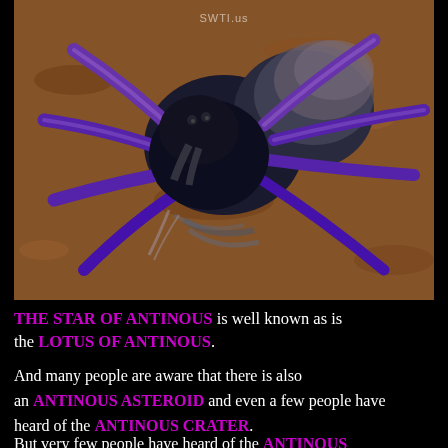[Figure (photo): Close-up photograph of a tarantula spider with black body and vivid purple/violet legs, resting on reddish-brown sandy ground. A watermark reads 'SWTI.us' at the top center.]
THE STAR OF ANTINOUS is well known as is the LOTUS OF ANTINOUS.
And many people are aware that there is also an ANTINOUS ASTEROID and even a few people have heard of the ANTINOUS CRATER.
But very few people have heard of the ANTINOUS